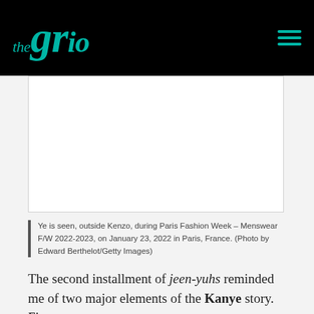theGrio
[Figure (photo): Blank white image placeholder — photo of Ye outside Kenzo during Paris Fashion Week]
Ye is seen, outside Kenzo, during Paris Fashion Week – Menswear F/W 2022-2023, on January 23, 2022 in Paris, France. (Photo by Edward Berthelot/Getty Images)
The second installment of jeen-yuhs reminded me of two major elements of the Kanye story. First: